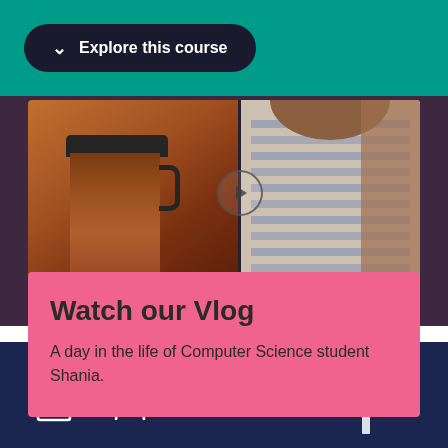Explore this course
[Figure (photo): Two-panel photo strip: left side shows a warm amber/orange photo with a dark travel mug; right side shows a person wearing a striped top, with a play button overlay between the panels]
Watch our Vlog
A day in the life of Computer Science student Shania.